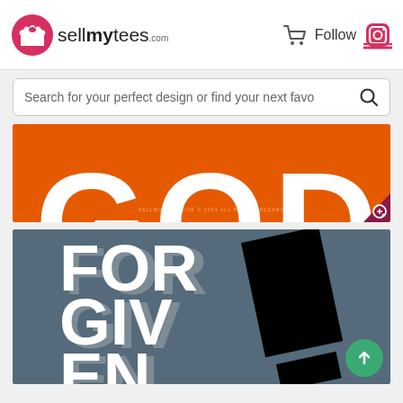[Figure (logo): sellmytees.com logo with t-shirt icon]
Follow
[Figure (screenshot): Search bar: Search for your perfect design or find your next favo]
[Figure (photo): Orange background with large white text GOD (cropped at top)]
[Figure (photo): Dark blue-grey background with large white bold text FORGIVEN with black exclamation element]